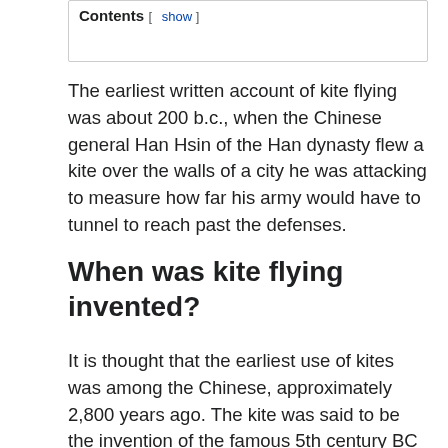Contents [ show ]
The earliest written account of kite flying was about 200 b.c., when the Chinese general Han Hsin of the Han dynasty flew a kite over the walls of a city he was attacking to measure how far his army would have to tunnel to reach past the defenses.
When was kite flying invented?
It is thought that the earliest use of kites was among the Chinese, approximately 2,800 years ago. The kite was said to be the invention of the famous 5th century BC Chinese philosophers Mozi and Lu Ban. By